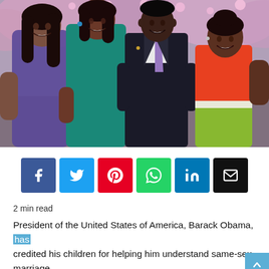[Figure (photo): Family photo of Barack Obama, Michelle Obama, and their two daughters Malia and Sasha, smiling outdoors with pink flowering trees in the background. Malia wears a blue dress, Michelle a teal dress, Barack a dark suit with lavender tie, and Sasha an orange top with green skirt.]
[Figure (infographic): Row of six social media sharing buttons: Facebook (dark blue, f), Twitter (light blue, bird), Pinterest (red, p), WhatsApp (green, phone), LinkedIn (blue, in), Email (black, envelope)]
2 min read
President of the United States of America, Barack Obama, has credited his children for helping him understand same-sex marriage.